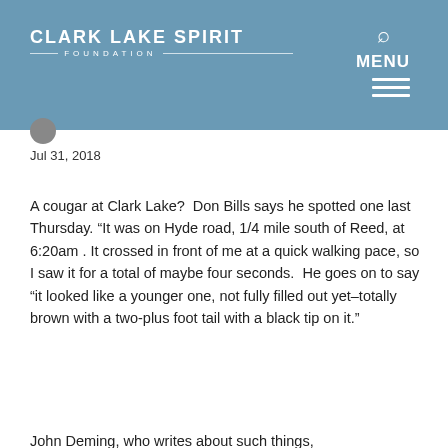[Figure (logo): Clark Lake Spirit Foundation logo with text]
Jul 31, 2018
A cougar at Clark Lake?  Don Bills says he spotted one last Thursday. "It was on Hyde road, 1/4 mile south of Reed, at 6:20am . It crossed in front of me at a quick walking pace, so I saw it for a total of maybe four seconds.  He goes on to say "it looked like a younger one, not fully filled out yet–totally brown with a two-plus foot tail with a black tip on it."
John Deming, who writes about such things,